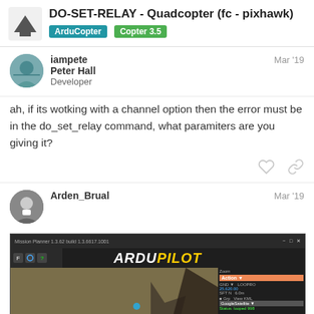DO-SET-RELAY - Quadcopter (fc - pixhawk) | ArduCopter | Copter 3.5
iampete
Peter Hall
Developer
Mar '19
ah, if its wotking with a channel option then the error must be in the do_set_relay command, what paramiters are you giving it?
Arden_Brual
Mar '19
[Figure (screenshot): ArduPilot Mission Planner screenshot showing map view with waypoints and sidebar panel. Page 7 of 18.]